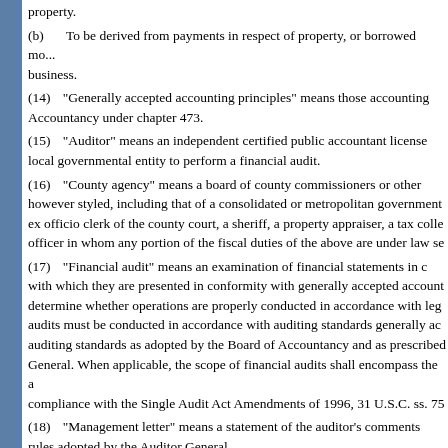property.
(b) To be derived from payments in respect of property, or borrowed mo... business.
(14) "Generally accepted accounting principles" means those accounting... Accountancy under chapter 473.
(15) "Auditor" means an independent certified public accountant license... local governmental entity to perform a financial audit.
(16) "County agency" means a board of county commissioners or other... however styled, including that of a consolidated or metropolitan government... ex officio clerk of the county court, a sheriff, a property appraiser, a tax colle... officer in whom any portion of the fiscal duties of the above are under law se...
(17) "Financial audit" means an examination of financial statements in c... with which they are presented in conformity with generally accepted account... determine whether operations are properly conducted in accordance with leg... audits must be conducted in accordance with auditing standards generally ac... auditing standards as adopted by the Board of Accountancy and as prescribed... General. When applicable, the scope of financial audits shall encompass the a... compliance with the Single Audit Act Amendments of 1996, 31 U.S.C. ss. 75...
(18) "Management letter" means a statement of the auditor's comments... rules adopted by the Auditor General.
History.—s. 2, ch. 73-349; s. 4, ch. 79-183; s. 1, ch. 81-96; s. 83, ch. 83-217; s. 58, ch. 89... 2001-266; s. 254, ch. 2003-261; s. 5, ch. 2011-52.